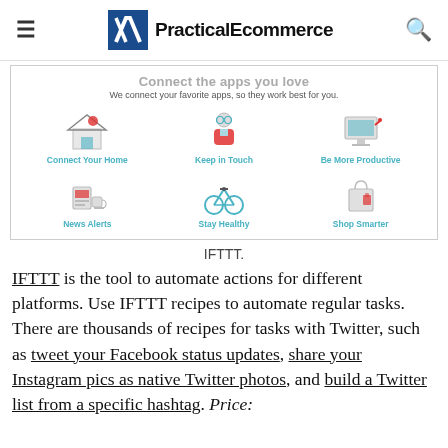≡  PracticalEcommerce  🔍
[Figure (screenshot): IFTTT website screenshot showing 'Connect the apps you love' header with subtitle 'We connect your favorite apps, so they work best for you.' and a grid of 6 category icons: Connect Your Home, Keep in Touch, Be More Productive, News Alerts, Stay Healthy, Shop Smarter]
IFTTT.
IFTTT is the tool to automate actions for different platforms. Use IFTTT recipes to automate regular tasks. There are thousands of recipes for tasks with Twitter, such as tweet your Facebook status updates, share your Instagram pics as native Twitter photos, and build a Twitter list from a specific hashtag. Price: